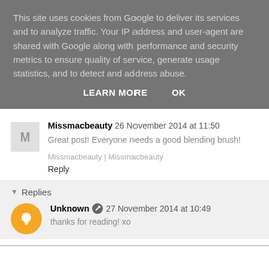This site uses cookies from Google to deliver its services and to analyze traffic. Your IP address and user-agent are shared with Google along with performance and security metrics to ensure quality of service, generate usage statistics, and to detect and address abuse.
LEARN MORE   OK
Missmacbeauty  26 November 2014 at 11:50
Great post! Everyone needs a good blending brush!
Missmacbeauty | Missmacbeauty
Reply
Replies
Unknown  27 November 2014 at 10:49
thanks for reading! xo